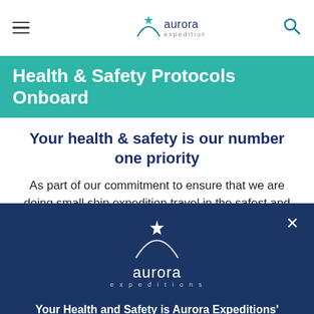aurora expeditions
Health & Safety Protocols Onboard
Your health & safety is our number one priority
As part of our commitment to ensure that we are doing small ship expedition travel in the safest and most responsible way possible
[Figure (logo): Aurora Expeditions logo — white star and arc above the text 'aurora expeditions' on dark blue modal background]
Your Health and Safety is Aurora Expeditions' Number #1 Priority